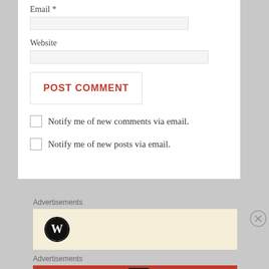Email *
Website
POST COMMENT
Notify me of new comments via email.
Notify me of new posts via email.
Advertisements
[Figure (logo): WordPress logo: black circle with W]
Advertisements
[Figure (infographic): Pocket Casts advertisement: red background, text 'An app by listeners, for listeners.' with phone image and Pocket Casts branding]